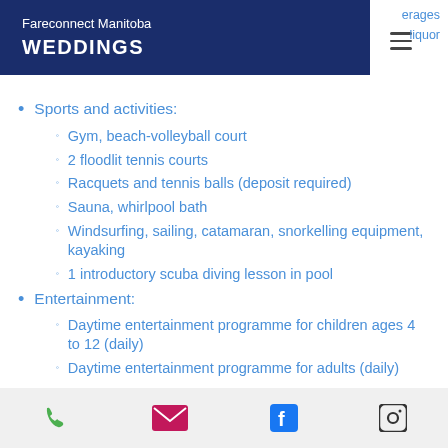Fareconnect Manitoba WEDDINGS
Sports and activities:
Gym, beach-volleyball court
2 floodlit tennis courts
Racquets and tennis balls (deposit required)
Sauna, whirlpool bath
Windsurfing, sailing, catamaran, snorkelling equipment, kayaking
1 introductory scuba diving lesson in pool
Entertainment:
Daytime entertainment programme for children ages 4 to 12 (daily)
Daytime entertainment programme for adults (daily)